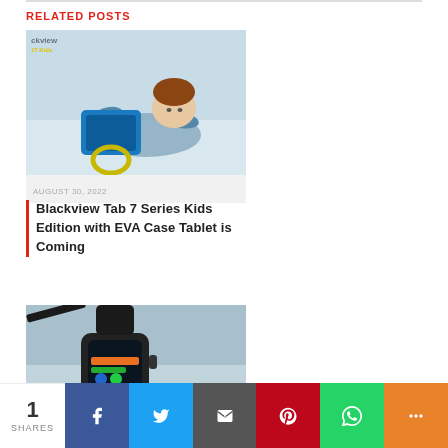RELATED POSTS
[Figure (photo): Child lying down using a blue tablet with yellow handle, wearing blue gloves/sleeves]
AUGUST 30, 2022
Blackview Tab 7 Series Kids Edition with EVA Case Tablet is Coming
[Figure (photo): Black smartwatch on a surface with colorful screen display]
1 SHARES  [Facebook] [Twitter] [Email] [Pinterest] [WhatsApp] [More]